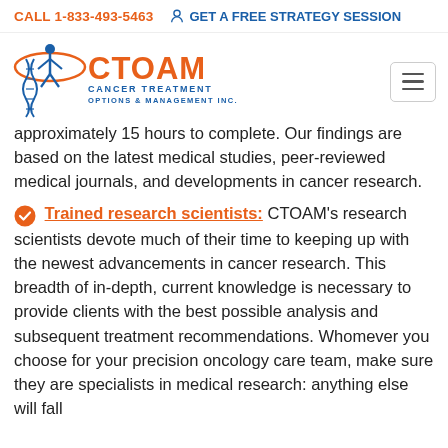CALL 1-833-493-5463   GET A FREE STRATEGY SESSION
[Figure (logo): CTOAM Cancer Treatment Options & Management Inc. logo with orange figure and blue DNA helix]
approximately 15 hours to complete. Our findings are based on the latest medical studies, peer-reviewed medical journals, and developments in cancer research.
Trained research scientists: CTOAM's research scientists devote much of their time to keeping up with the newest advancements in cancer research. This breadth of in-depth, current knowledge is necessary to provide clients with the best possible analysis and subsequent treatment recommendations. Whomever you choose for your precision oncology care team, make sure they are specialists in medical research: anything else will fall